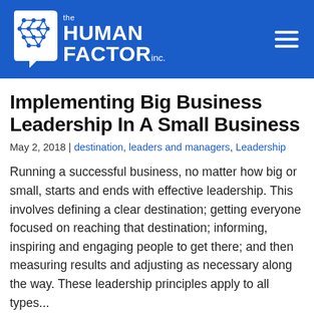the HUMAN FACTOR inc.
Implementing Big Business Leadership In A Small Business
May 2, 2018 | destination, leaders and managers, Leadership
Running a successful business, no matter how big or small, starts and ends with effective leadership. This involves defining a clear destination; getting everyone focused on reaching that destination; informing, inspiring and engaging people to get there; and then measuring results and adjusting as necessary along the way. These leadership principles apply to all types...
Read M...